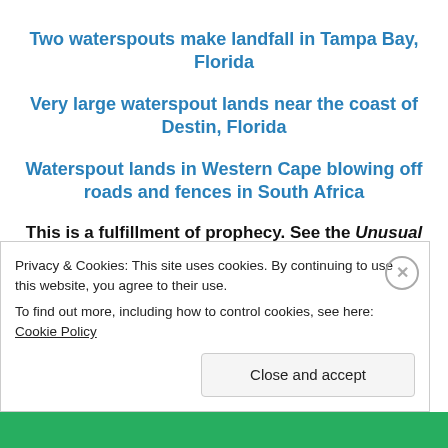Two waterspouts make landfall in Tampa Bay, Florida
Very large waterspout lands near the coast of Destin, Florida
Waterspout lands in Western Cape blowing off roads and fences in South Africa
This is a fulfillment of prophecy. See the Unusual Whirlwind Events dated 2/21/19 at
Privacy & Cookies: This site uses cookies. By continuing to use this website, you agree to their use.
To find out more, including how to control cookies, see here: Cookie Policy
Close and accept